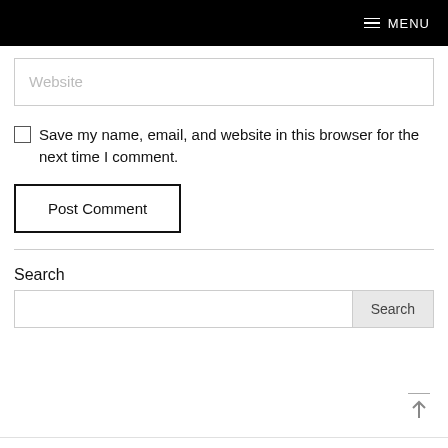MENU
[Figure (screenshot): Website input field placeholder]
Save my name, email, and website in this browser for the next time I comment.
Post Comment
Search
Search